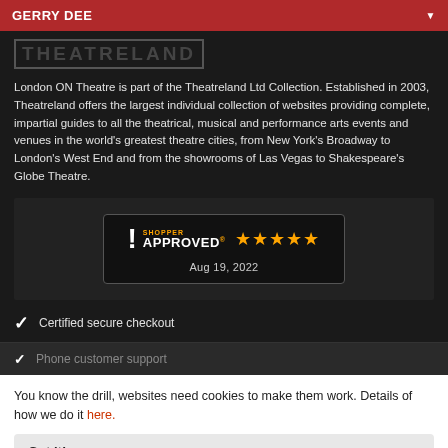GERRY DEE
[Figure (logo): Theatreland logo in pixelated/stylized text on dark background]
London ON Theatre is part of the Theatreland Ltd Collection. Established in 2003, Theatreland offers the largest individual collection of websites providing complete, impartial guides to all the theatrical, musical and performance arts events and venues in the world's greatest theatre cities, from New York's Broadway to London's West End and from the showrooms of Las Vegas to Shakespeare's Globe Theatre.
[Figure (logo): Shopper Approved badge with 4.5 stars and date Aug 19, 2022]
Certified secure checkout
Phone customer support
You know the drill, websites need cookies to make them work. Details of how we do it here.
Got it!